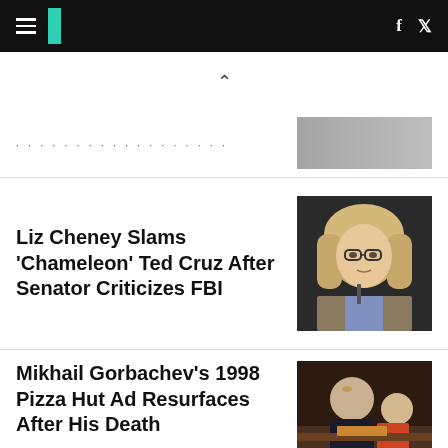HuffPost navigation bar with logo, hamburger menu, Facebook and Twitter icons
· · · · · · · · · · · · · · · · · ·
[Figure (photo): Partially visible article thumbnail, grey/blurred image]
Liz Cheney Slams 'Chameleon' Ted Cruz After Senator Criticizes FBI
[Figure (photo): Photo of Liz Cheney, blonde woman with glasses, serious expression]
Mikhail Gorbachev's 1998 Pizza Hut Ad Resurfaces After His Death
[Figure (photo): Photo scene from Gorbachev Pizza Hut ad, elderly man and child at table]